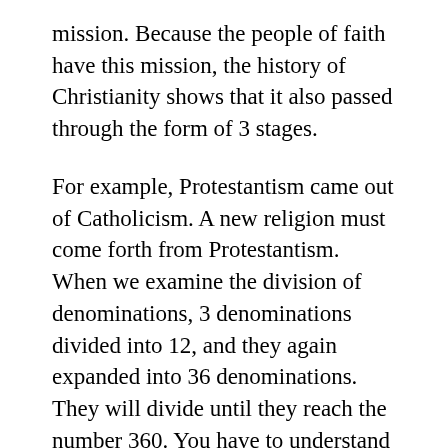mission. Because the people of faith have this mission, the history of Christianity shows that it also passed through the form of 3 stages.
For example, Protestantism came out of Catholicism. A new religion must come forth from Protestantism. When we examine the division of denominations, 3 denominations divided into 12, and they again expanded into 36 denominations. They will divide until they reach the number 360. You have to understand that when this takes place it is the Last Days.
Moreover, when we look at nations, the world is divided into three blocs centering on the three great nations. This is passing through